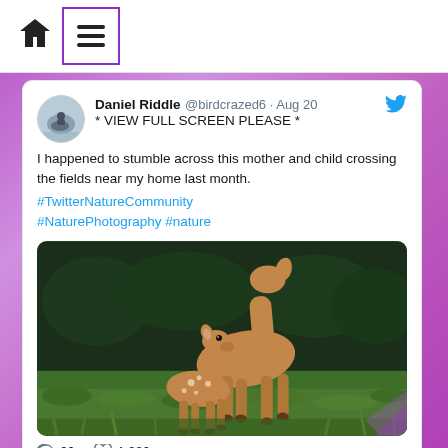[Figure (screenshot): Navigation bar with home icon and hamburger menu button in purple-bordered box]
Daniel Riddle @birdcrazed6 · Aug 20
* VIEW FULL SCREEN PLEASE *
I happened to stumble across this mother and child crossing the fields near my home last month.
#TwitterNatureCommunity #NaturePhotography #nature
[Figure (photo): A deer mother and fawn standing together on green grass with dark background]
66   1,980